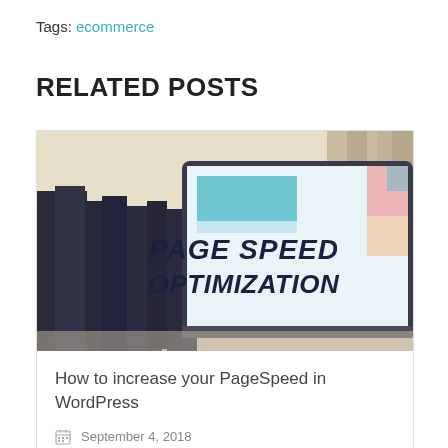Tags: ecommerce
RELATED POSTS
[Figure (photo): Laptop screen displaying 'PAGE SPEED OPTIMIZATION' text on a light blue/white background, with dark chairs visible in the background]
How to increase your PageSpeed in WordPress
September 4, 2018